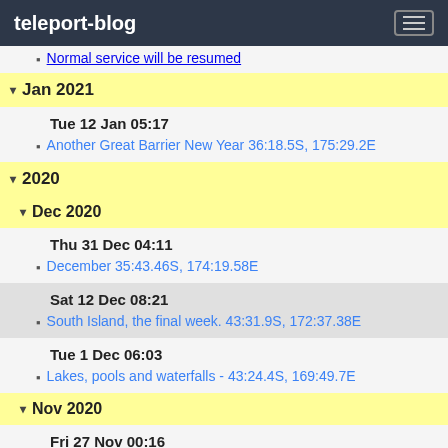teleport-blog
Normal service will be resumed
Jan 2021
Tue 12 Jan 05:17
Another Great Barrier New Year 36:18.5S, 175:29.2E
2020
Dec 2020
Thu 31 Dec 04:11
December 35:43.46S, 174:19.58E
Sat 12 Dec 08:21
South Island, the final week. 43:31.9S, 172:37.38E
Tue 1 Dec 06:03
Lakes, pools and waterfalls - 43:24.4S, 169:49.7E
Nov 2020
Fri 27 Nov 00:16